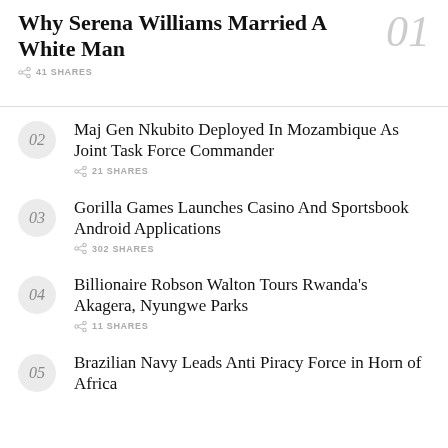Why Serena Williams Married A White Man
41 SHARES
02 Maj Gen Nkubito Deployed In Mozambique As Joint Task Force Commander — 21 SHARES
03 Gorilla Games Launches Casino And Sportsbook Android Applications — 302 SHARES
04 Billionaire Robson Walton Tours Rwanda's Akagera, Nyungwe Parks — 11 SHARES
05 Brazilian Navy Leads Anti Piracy Force in Horn of Africa